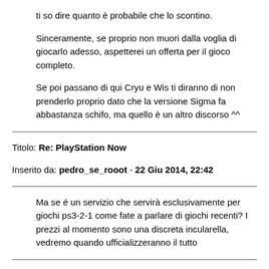ti so dire quanto è probabile che lo scontino.
Sinceramente, se proprio non muori dalla voglia di giocarlo adesso, aspetterei un offerta per il gioco completo.
Se poi passano di qui Cryu e Wis ti diranno di non prenderlo proprio dato che la versione Sigma fa abbastanza schifo, ma quello è un altro discorso ^^
Titolo: Re: PlayStation Now
Inserito da: pedro_se_rooot - 22 Giu 2014, 22:42
Ma se é un servizio che servirà esclusivamente per giochi ps3-2-1 come fate a parlare di giochi recenti? I prezzi al momento sono una discreta incularella, vedremo quando ufficializzeranno il tutto
Titolo: Re: PlayStation Now
Inserito da: The Benso - 22 Giu 2014, 22:50
Che poi è un controsenso: fai una beta per testare il servizio, in cui in teoria devi anche tare stress test, ma metti prezzi cosi proibitivi che mi sorprenderei se 10 utenti in tutto riescano a provare il servizio.
Piuttosto, dovrebbero mettere - sparo - un gioco gratis al giorno, cosi un sacco di gente lo prova: fai i tuoi test, fai affezionare l'utente, ti fai pubblicità col passaparola, razzi e